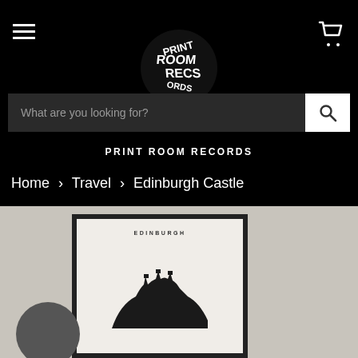[Figure (logo): Print Room Records circular logo with warped text on black background]
[Figure (other): Search bar with placeholder text and search button]
PRINT ROOM RECORDS
Home > Travel > Edinburgh Castle
[Figure (photo): Product photo showing a framed Edinburgh Castle print displayed against a grey background with a dark ball/sphere in lower left. The print shows 'EDINBURGH' text and a silhouette illustration of Edinburgh Castle.]